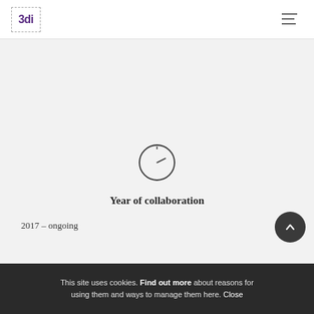[Figure (logo): 3di logo with dashed box border, purple text reading '3di']
[Figure (illustration): Hamburger menu icon (three horizontal lines) in top right of header]
[Figure (illustration): Clock/timer circle icon with a hand pointing slightly right of 12 o'clock]
Year of collaboration
2017 – ongoing
[Figure (illustration): Dark circular scroll-to-top button with upward chevron arrow]
This site uses cookies. Find out more about reasons for using them and ways to manage them here. Close